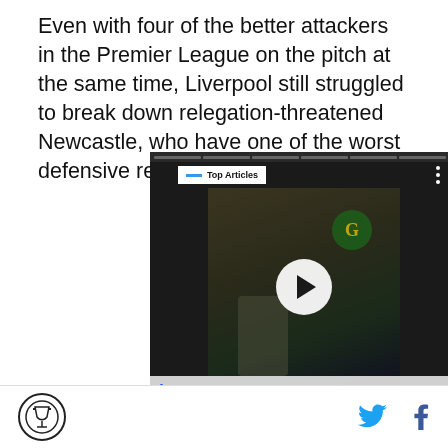Even with four of the better attackers in the Premier League on the pitch at the same time, Liverpool still struggled to break down relegation-threatened Newcastle, who have one of the worst defensive records in the league.
[Figure (screenshot): Video player showing a soccer/football match clip. Contains 'Top Articles' badge, play button, mute button, next arrow button, and a caption 'The best ‘Madden 23’ glitches the internet has to offer'.]
The best ‘Madden 23’ glitches the internet has to offer
Logo icon, Twitter share icon, Facebook share icon